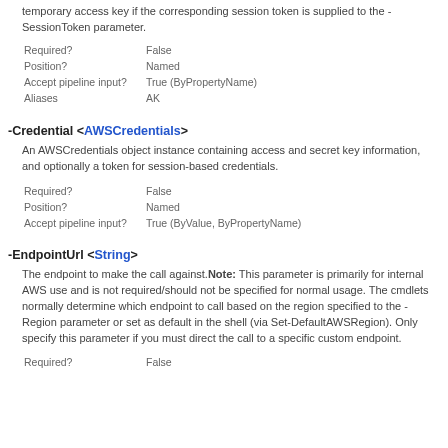temporary access key if the corresponding session token is supplied to the -SessionToken parameter.
| Required? | False |
| Position? | Named |
| Accept pipeline input? | True (ByPropertyName) |
| Aliases | AK |
-Credential <AWSCredentials>
An AWSCredentials object instance containing access and secret key information, and optionally a token for session-based credentials.
| Required? | False |
| Position? | Named |
| Accept pipeline input? | True (ByValue, ByPropertyName) |
-EndpointUrl <String>
The endpoint to make the call against. Note: This parameter is primarily for internal AWS use and is not required/should not be specified for normal usage. The cmdlets normally determine which endpoint to call based on the region specified to the -Region parameter or set as default in the shell (via Set-DefaultAWSRegion). Only specify this parameter if you must direct the call to a specific custom endpoint.
| Required? | False |